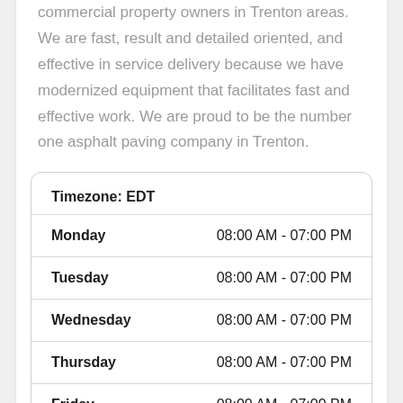commercial property owners in Trenton areas. We are fast, result and detailed oriented, and effective in service delivery because we have modernized equipment that facilitates fast and effective work. We are proud to be the number one asphalt paving company in Trenton.
| Day | Hours |
| --- | --- |
| Monday | 08:00 AM - 07:00 PM |
| Tuesday | 08:00 AM - 07:00 PM |
| Wednesday | 08:00 AM - 07:00 PM |
| Thursday | 08:00 AM - 07:00 PM |
| Friday | 08:00 AM - 07:00 PM |